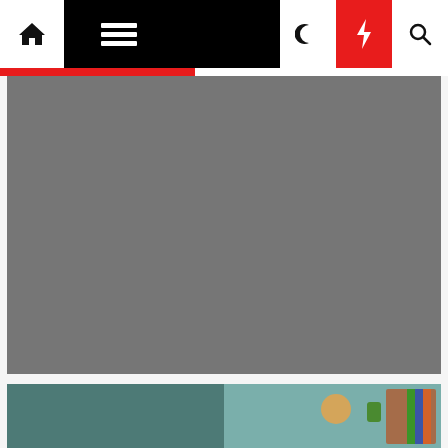Navigation bar with home, menu, moon, bolt, search icons
[Figure (photo): Gray placeholder hero image for article]
Technology
5 Donts Of Diy Home Improvements
Destiny Viator  1 year ago
[Figure (photo): Partial bottom image showing a child with a green cup and colorful books/pencils in the background]